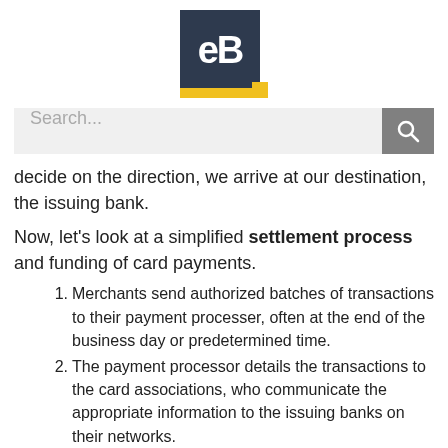[Figure (logo): eB logo: dark navy square with white 'eB' text, yellow accent bar at bottom-right corner]
[Figure (screenshot): Search bar with placeholder text 'Search...' and a grey search button with magnifying glass icon]
decide on the direction, we arrive at our destination, the issuing bank.
Now, let’s look at a simplified settlement process and funding of card payments.
Merchants send authorized batches of transactions to their payment processer, often at the end of the business day or predetermined time.
The payment processor details the transactions to the card associations, who communicate the appropriate information to the issuing banks on their networks.